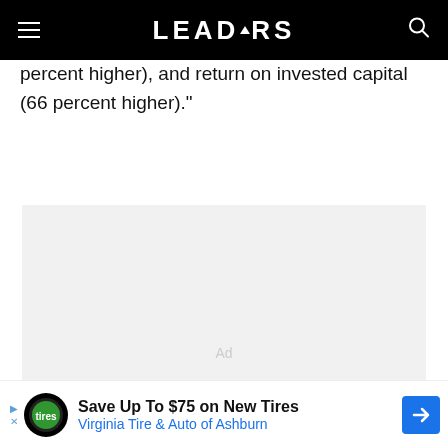LEADERS
percent higher), and return on invested capital (66 percent higher)."
[Figure (other): Advertisement placeholder box with light gray background and 'Ad' label in center]
[Figure (other): Bottom advertisement banner: Save Up To $75 on New Tires - Virginia Tire & Auto of Ashburn]